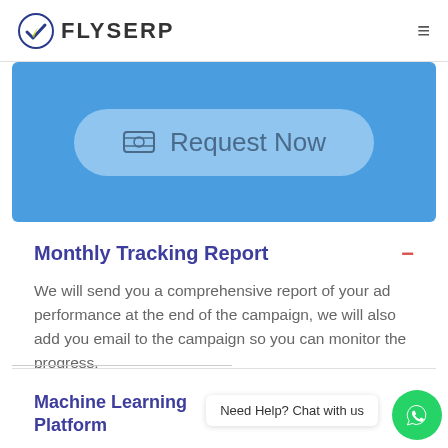FLYSERP
[Figure (screenshot): Blue banner with a rounded button labeled 'Request Now' with a dollar/money icon]
Monthly Tracking Report
We will send you a comprehensive report of your ad performance at the end of the campaign, we will also add you email to the campaign so you can monitor the progress.
Machine Learning Platform
Need Help? Chat with us